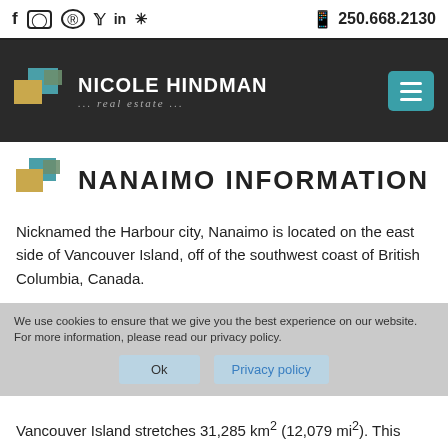f  ☐  ®  𝕏  in  ✦    📱 250.668.2130
[Figure (logo): Nicole Hindman Real Estate logo with teal, gold, and olive colored squares, white text reading NICOLE HINDMAN ... real estate ... on dark background, with teal hamburger menu button]
NANAIMO INFORMATION
Nicknamed the Harbour city, Nanaimo is located on the east side of Vancouver Island, off of the southwest coast of British Columbia, Canada.
We use cookies to ensure that we give you the best experience on our website. For more information, please read our privacy policy.
Vancouver Island stretches 31,285 km² (12,079 mi²). This